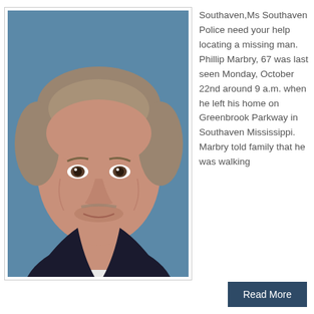[Figure (photo): Headshot photo of an older man, approximately 67 years old, with gray-brown hair, wearing a dark jacket over a white shirt, against a blue background. Subject is Phillip Marbry.]
Southaven,Ms Southaven Police need your help locating a missing man. Phillip Marbry, 67 was last seen Monday, October 22nd around 9 a.m. when he left his home on Greenbrook Parkway in Southaven Mississippi. Marbry told family that he was walking
Read More